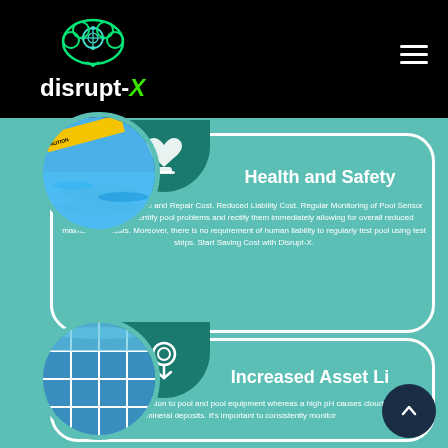disrupt-X logo and navigation header
[Figure (logo): disrupt-X logo: brain cloud icon in teal/green with circuit elements, text 'disrupt-X' in white with green X]
Health and Safety
Decreased Maintenance and Repair Cost. Reduced Liability Cost. Regular Monitoring of Pool Sensor Levels can help identify pool problems and rectify them immediately allowing for overall reduced maintenance costs. Moreover, there is no requirement of human liability to regularly test pool using test strips. Start Saving Cost with Disrupt-X.
[Figure (photo): Swimming pool with caution tape and blue water]
[Figure (illustration): Heart/hand icon representing health and safety]
Increased Asset Li...
Low pH can cause corrosion to pool and pool equipment whereas a high pH causes cloudy water & mineral deposits. It's important to consistently monitor
[Figure (photo): Pool tile detail with water and mineral deposits]
[Figure (illustration): Touch/finger icon representing asset interaction]